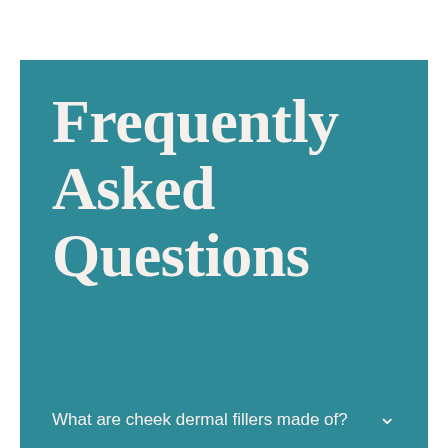Frequently Asked Questions
What are cheek dermal fillers made of?